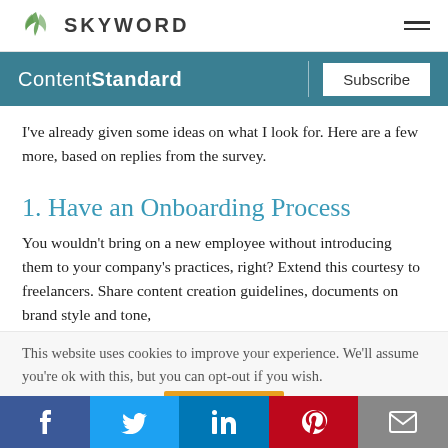SKYWORD
ContentStandard  Subscribe
I've already given some ideas on what I look for. Here are a few more, based on replies from the survey.
1. Have an Onboarding Process
You wouldn't bring on a new employee without introducing them to your company's practices, right? Extend this courtesy to freelancers. Share content creation guidelines, documents on brand style and tone,
This website uses cookies to improve your experience. We'll assume you're ok with this, but you can opt-out if you wish.
f  Twitter  in  Pinterest  Email